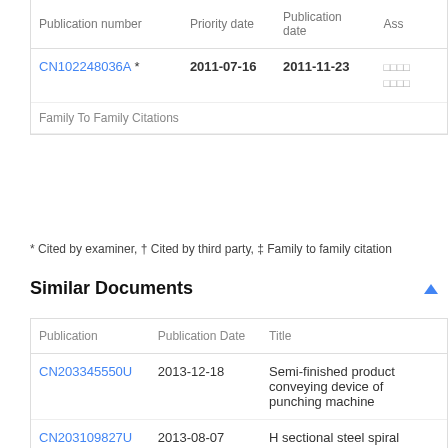| Publication number | Priority date | Publication date | Ass |
| --- | --- | --- | --- |
| CN102248036A * | 2011-07-16 | 2011-11-23 | □□□□□□□□ |
| Family To Family Citations |  |  |  |
* Cited by examiner, † Cited by third party, ‡ Family to family citation
Similar Documents
| Publication | Publication Date | Title |
| --- | --- | --- |
| CN203345550U | 2013-12-18 | Semi-finished product conveying device of punching machine |
| CN203109827U | 2013-08-07 | H sectional steel spiral clamping and positioning device |